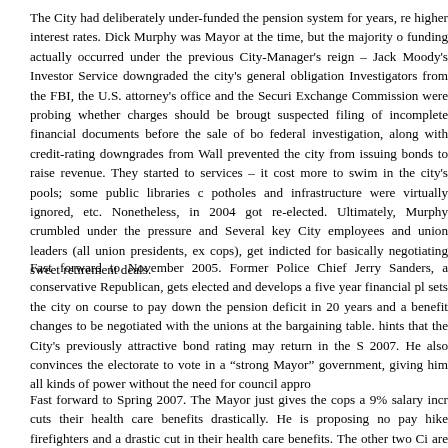The City had deliberately under-funded the pension system for years, re higher interest rates. Dick Murphy was Mayor at the time, but the majority o funding actually occurred under the previous City-Manager's reign – Jack Moody's Investor Service downgraded the city's general obligation Investigators from the FBI, the U.S. attorney's office and the Securi Exchange Commission were probing whether charges should be brougt suspected filing of incomplete financial documents before the sale of bo federal investigation, along with credit-rating downgrades from Wall prevented the city from issuing bonds to raise revenue. They started to services – it cost more to swim in the city's pools; some public libraries c potholes and infrastructure were virtually ignored, etc. Nonetheless, in 2004 got re-elected. Ultimately, Murphy crumbled under the pressure and Several key City employees and union leaders (all union presidents, ex cops), get indicted for basically negotiating sweet retirement deals.
Fast forward to November 2005. Former Police Chief Jerry Sanders, a conservative Republican, gets elected and develops a five year financial pl sets the city on course to pay down the pension deficit in 20 years and a benefit changes to be negotiated with the unions at the bargaining table. hints that the City's previously attractive bond rating may return in the S 2007. He also convinces the electorate to vote in a "strong Mayor" government, giving him all kinds of power without the need for council appro
Fast forward to Spring 2007. The Mayor just gives the cops a 9% salary incr cuts their health care benefits drastically. He is proposing no pay hike firefighters and a drastic cut in their health care benefits. The other two Ci are mid-term in their agreements and will not bargain until 2008.